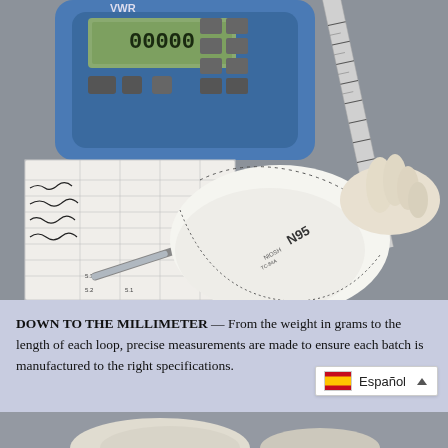[Figure (photo): A gloved hand holds an N95 mask against a metal ruler on a table, next to a digital measuring device (VWR brand), a handwritten data log on paper, and a pen. Quality inspection of PPE masks.]
DOWN TO THE MILLIMETER — From the weight in grams to the length of each loop, precise measurements are made to ensure each batch is manufactured to the right specifications.
[Figure (photo): Partial view of a gloved hand, bottom of page, showing another stage of mask inspection.]